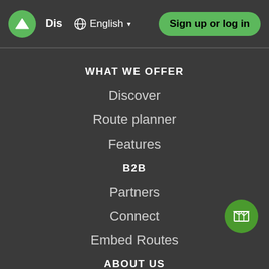Dis  English  Sign up or log in
WHAT WE OFFER
Discover
Route planner
Features
B2B
Partners
Connect
Embed Routes
ABOUT US
About
Press